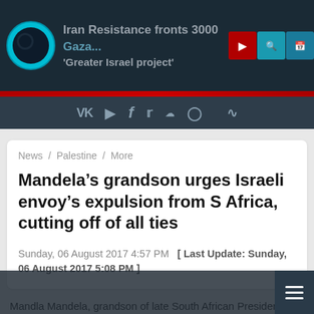[Figure (screenshot): News website header with logo, headline background text about 'Iran Resistance fronts 3000... Greater Israel project', red play button, search and calendar icons]
[Figure (screenshot): Social media icons bar: VK, Odysee/D, Facebook, Twitter, SoundCloud, Instagram, RSS]
News / Palestine / More
Mandela’s grandson urges Israeli envoy’s expulsion from S Africa, cutting off of all ties
Sunday, 06 August 2017 4:57 PM  [ Last Update: Sunday, 06 August 2017 5:08 PM ]
Mandla Mandela, grandson of late South African President Nelson Mandela and a member of parliament for the ruling African National Congress (ANC)